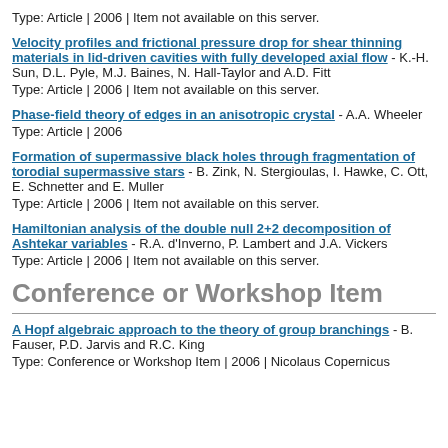Type: Article | 2006 | Item not available on this server.
Velocity profiles and frictional pressure drop for shear thinning materials in lid-driven cavities with fully developed axial flow - K.-H. Sun, D.L. Pyle, M.J. Baines, N. Hall-Taylor and A.D. Fitt
Type: Article | 2006 | Item not available on this server.
Phase-field theory of edges in an anisotropic crystal - A.A. Wheeler
Type: Article | 2006
Formation of supermassive black holes through fragmentation of torodial supermassive stars - B. Zink, N. Stergioulas, I. Hawke, C. Ott, E. Schnetter and E. Muller
Type: Article | 2006 | Item not available on this server.
Hamiltonian analysis of the double null 2+2 decomposition of Ashtekar variables - R.A. d'Inverno, P. Lambert and J.A. Vickers
Type: Article | 2006 | Item not available on this server.
Conference or Workshop Item
A Hopf algebraic approach to the theory of group branchings - B. Fauser, P.D. Jarvis and R.C. King
Type: Conference or Workshop Item | 2006 | Nicolaus Copernicus